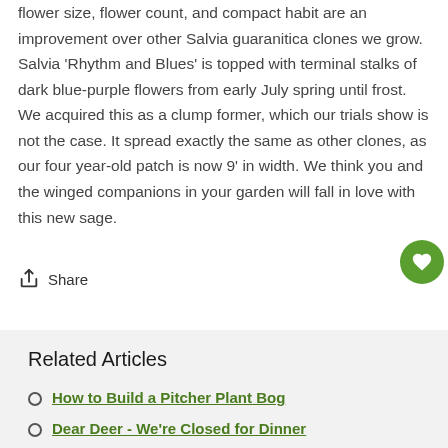flower size, flower count, and compact habit are an improvement over other Salvia guaranitica clones we grow. Salvia 'Rhythm and Blues' is topped with terminal stalks of dark blue-purple flowers from early July spring until frost. We acquired this as a clump former, which our trials show is not the case. It spread exactly the same as other clones, as our four year-old patch is now 9' in width. We think you and the winged companions in your garden will fall in love with this new sage.
Share
Related Articles
How to Build a Pitcher Plant Bog
Dear Deer - We're Closed for Dinner